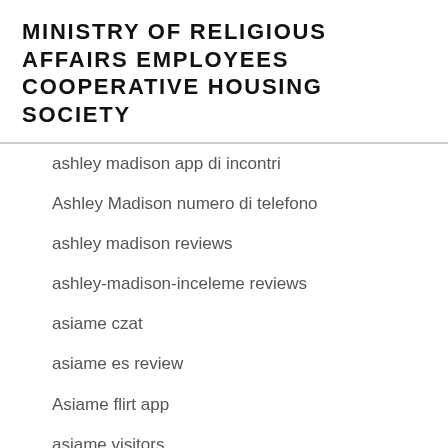MINISTRY OF RELIGIOUS AFFAIRS EMPLOYEES COOPERATIVE HOUSING SOCIETY
ashley madison app di incontri
Ashley Madison numero di telefono
ashley madison reviews
ashley-madison-inceleme reviews
asiame czat
asiame es review
Asiame flirt app
asiame visitors
asiame-inceleme visitors
asian dates review